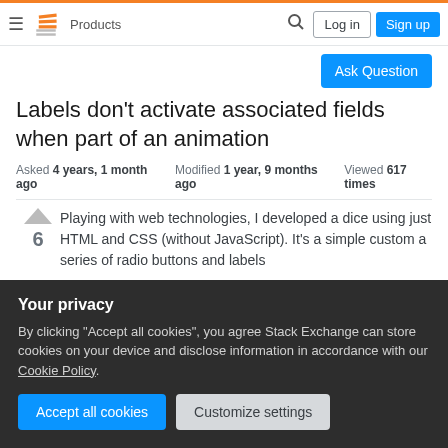Stack Overflow navigation: hamburger menu, logo, Products, search, Log in, Sign up
Ask Question
Labels don't activate associated fields when part of an animation
Asked 4 years, 1 month ago   Modified 1 year, 9 months ago   Viewed 617 times
Playing with web technologies, I developed a dice using just HTML and CSS (without JavaScript). It's a simple custom a series of radio buttons and labels
Your privacy
By clicking "Accept all cookies", you agree Stack Exchange can store cookies on your device and disclose information in accordance with our Cookie Policy.
Accept all cookies
Customize settings